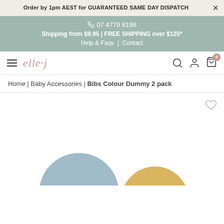Order by 1pm AEST for GUARANTEED SAME DAY DISPATCH
07 4779 8198 | Shipping from $9.95 | FREE SHIPPING over $125* | Help & Faqs | Contact
elle·j logo, navigation icons: search, account, cart (0)
Home | Baby Accessories | Bibs Colour Dummy 2 pack
[Figure (photo): Product photo showing two BIBS colour dummies — one in a muted blue/grey colour and one in yellow/gold — partially visible at the bottom of the page]